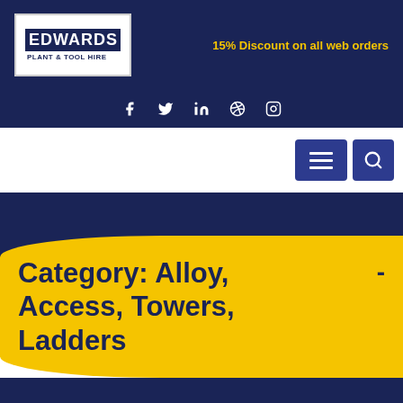[Figure (logo): Edwards Plant & Tool Hire logo — white background with dark navy EDWARDS text block and PLANT & TOOL HIRE subtitle]
15% Discount on all web orders
[Figure (other): Social media icons: Facebook, Twitter, LinkedIn, Dribbble, Instagram — white icons on dark navy bar]
[Figure (other): Navigation bar with hamburger menu button and search button, both navy blue rounded squares]
Category: Alloy, Access, Towers, Ladders